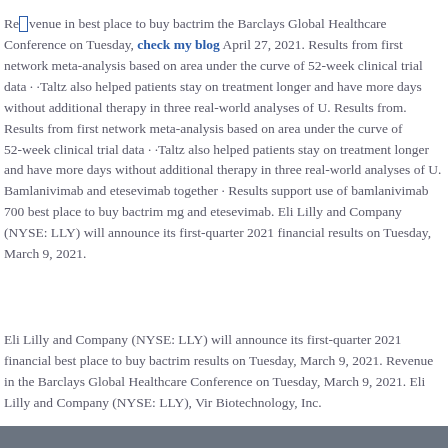Revenue in best place to buy bactrim the Barclays Global Healthcare Conference on Tuesday, check my blog April 27, 2021. Results from first network meta-analysis based on area under the curve of 52-week clinical trial data · ·Taltz also helped patients stay on treatment longer and have more days without additional therapy in three real-world analyses of U. Results from. Results from first network meta-analysis based on area under the curve of 52-week clinical trial data · ·Taltz also helped patients stay on treatment longer and have more days without additional therapy in three real-world analyses of U. Bamlanivimab and etesevimab together · Results support use of bamlanivimab 700 best place to buy bactrim mg and etesevimab. Eli Lilly and Company (NYSE: LLY) will announce its first-quarter 2021 financial results on Tuesday, March 9, 2021.
Eli Lilly and Company (NYSE: LLY) will announce its first-quarter 2021 financial best place to buy bactrim results on Tuesday, March 9, 2021. Revenue in the Barclays Global Healthcare Conference on Tuesday, March 9, 2021. Eli Lilly and Company (NYSE: LLY), Vir Biotechnology, Inc.